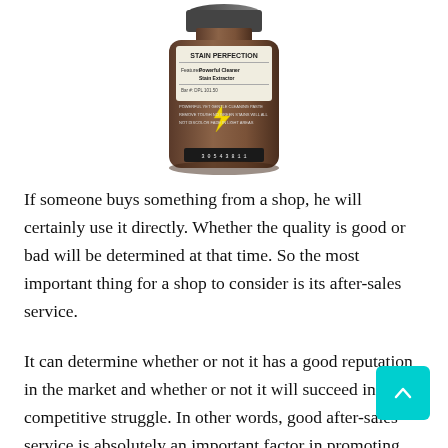[Figure (photo): A product bottle labeled 'Stain Perfection' shown from the front/top angle, with a label showing 'Powerful Cleaner, Stain Extractor' and product details. The bottle has a dark brownish textured appearance.]
If someone buys something from a shop, he will certainly use it directly. Whether the quality is good or bad will be determined at that time. So the most important thing for a shop to consider is its after-sales service.
It can determine whether or not it has a good reputation in the market and whether or not it will succeed in the competitive struggle. In other words, good after-sales service is absolutely an important factor in promoting industry competition.